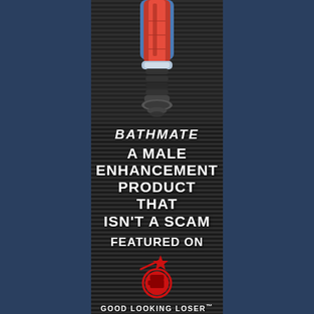[Figure (photo): Bathmate male enhancement pump product, red and blue cylindrical device with black ribbed grip, shown from above on dark striped background]
BATHMATE
A MALE ENHANCEMENT PRODUCT THAT ISN'T A SCAM
FEATURED ON
[Figure (logo): Good Looking Loser logo: red star with shooting trail and red circle with fist icon]
GOOD LOOKING LOSER™